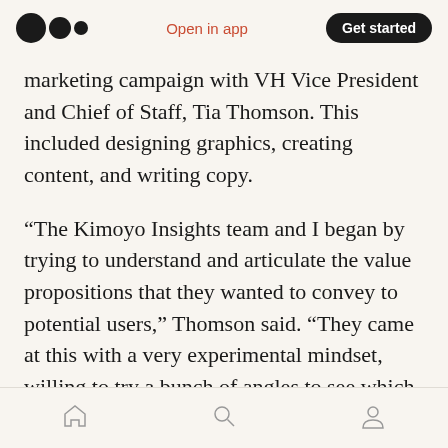Open in app | Get started
marketing campaign with VH Vice President and Chief of Staff, Tia Thomson. This included designing graphics, creating content, and writing copy.
“The Kimoyo Insights team and I began by trying to understand and articulate the value propositions that they wanted to convey to potential users,” Thomson said. “They came at this with a very experimental mindset, willing to try a bunch of angles to see which ones worked best. Their input throughout the project, coupled with a strong marketing strategy, led to a hugely
Home | Search | Profile